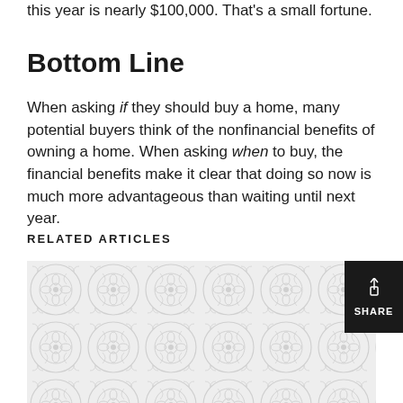this year is nearly $100,000. That's a small fortune.
Bottom Line
When asking if they should buy a home, many potential buyers think of the nonfinancial benefits of owning a home. When asking when to buy, the financial benefits make it clear that doing so now is much more advantageous than waiting until next year.
RELATED ARTICLES
[Figure (illustration): Decorative tile pattern image placeholder with ornamental floral/scroll design in light grey, with a black SHARE button overlay in the top-right corner.]